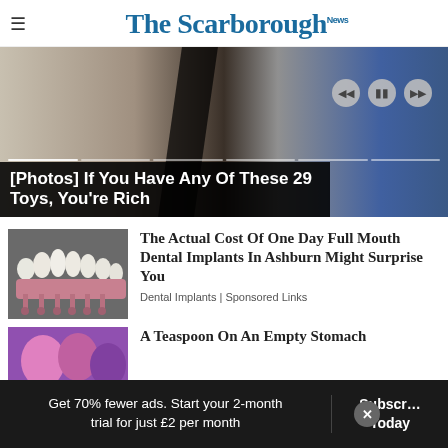The Scarborough News
[Figure (photo): Slideshow banner image with dark background showing fabric/textile patterns and a blue object. Media playback controls visible top right. Progress bar indicators shown. Caption overlay reads: [Photos] If You Have Any Of These 29 Toys, You're Rich]
[Photos] If You Have Any Of These 29 Toys, You're Rich
[Figure (photo): Thumbnail image of dental implants model showing white teeth crowns on pink implant posts against grey background]
The Actual Cost Of One Day Full Mouth Dental Implants In Ashburn Might Surprise You
Dental Implants | Sponsored Links
[Figure (illustration): Thumbnail illustration with purple/pink tones for second article teaser]
A Teaspoon On An Empty Stomach
Get 70% fewer ads. Start your 2-month trial for just £2 per month
Subscribe Today